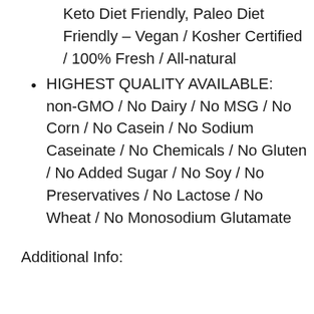Keto Diet Friendly, Paleo Diet Friendly – Vegan / Kosher Certified / 100% Fresh / All-natural
HIGHEST QUALITY AVAILABLE: non-GMO / No Dairy / No MSG / No Corn / No Casein / No Sodium Caseinate / No Chemicals / No Gluten / No Added Sugar / No Soy / No Preservatives / No Lactose / No Wheat / No Monosodium Glutamate
Additional Info: